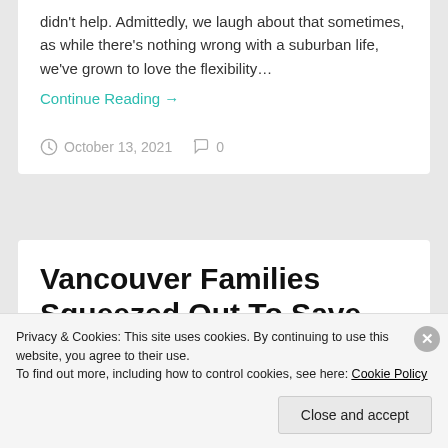didn't help. Admittedly, we laugh about that sometimes, as while there's nothing wrong with a suburban life, we've grown to love the flexibility…
Continue Reading →
October 13, 2021   0
Vancouver Families Squeezed Out To Save
Privacy & Cookies: This site uses cookies. By continuing to use this website, you agree to their use. To find out more, including how to control cookies, see here: Cookie Policy
Close and accept